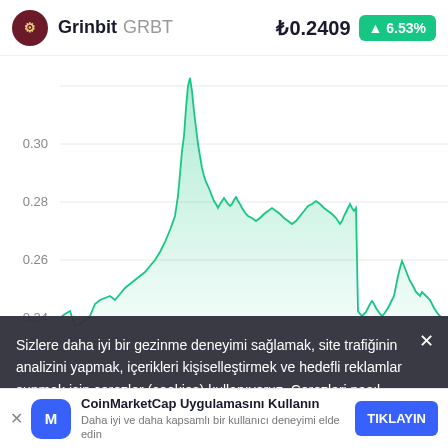Grinbit GRBT ₺0.2409 ▲6.53%
[Figure (area-chart): Area/line chart showing GRBT price over time. Y-axis shows values 0.24, 0.26, 0.28, 0.30. The line is green with filled area, showing volatility with peaks around 0.32+ in the middle section and recent rise to ~0.27 at the right end.]
Sizlere daha iyi bir gezinme deneyimi sağlamak, site trafiğinin analizini yapmak, içerikleri kişiselleştirmek ve hedefli reklamlar sunmak için çerezler (cookies) kullanıyoruz. Çerezleri nasıl kullandığımız ve bunları nasıl kontrol edebileceğiniz hakkında
CoinMarketCap Uygulamasını Kullanın
Daha iyi ve daha kapsamlı bir kullanıcı deneyimi elde edin